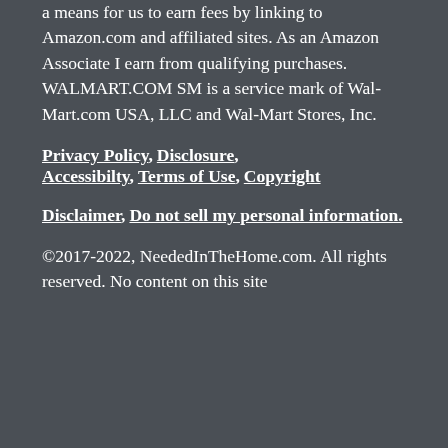a means for us to earn fees by linking to Amazon.com and affiliated sites. As an Amazon Associate I earn from qualifying purchases. WALMART.COM SM is a service mark of Wal-Mart.com USA, LLC and Wal-Mart Stores, Inc.
Privacy Policy, Disclosure, Accessibilty, Terms of Use, Copyright
Disclaimer, Do not sell my personal information.
©2017-2022, NeededInTheHome.com. All rights reserved. No content on this site